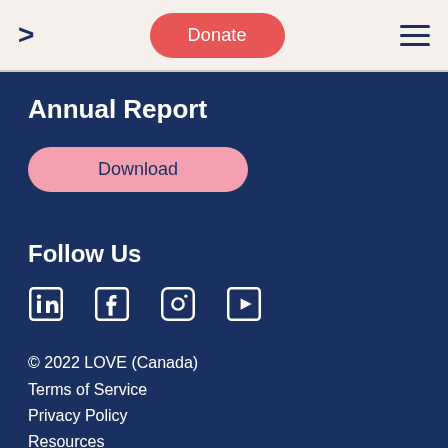> Donate ☰
Annual Report
Download
Follow Us
[Figure (illustration): Social media icons: LinkedIn, Facebook, Instagram, YouTube]
© 2022 LOVE (Canada)
Terms of Service
Privacy Policy
Resources